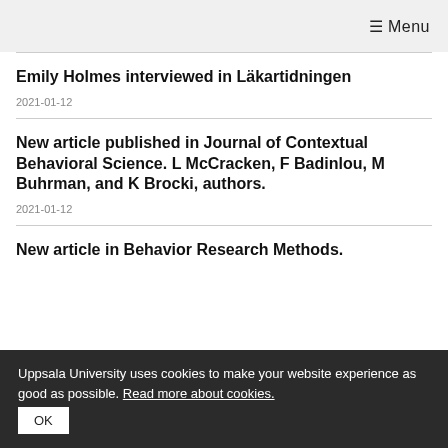☰ Menu
Emily Holmes interviewed in Läkartidningen
2021-01-12
New article published in Journal of Contextual Behavioral Science. L McCracken, F Badinlou, M Buhrman, and K Brocki, authors.
2021-01-12
New article in Behavior Research Methods.
Uppsala University uses cookies to make your website experience as good as possible. Read more about cookies.